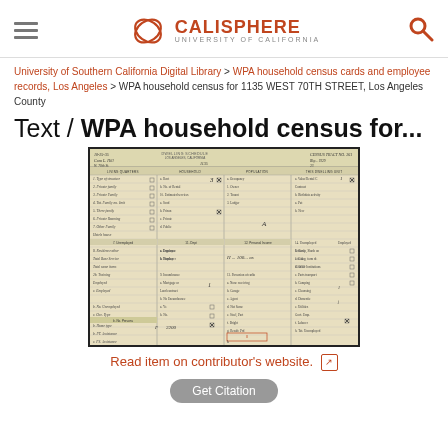CALISPHERE — UNIVERSITY OF CALIFORNIA
University of Southern California Digital Library > WPA household census cards and employee records, Los Angeles > WPA household census for 1135 WEST 70TH STREET, Los Angeles County
Text / WPA household census for...
[Figure (photo): Scanned WPA household census form for 1135 West 70th Street, Los Angeles County — a vintage form with handwritten entries in multiple columns covering dwelling, family, and employment details.]
Read item on contributor's website.
Get Citation